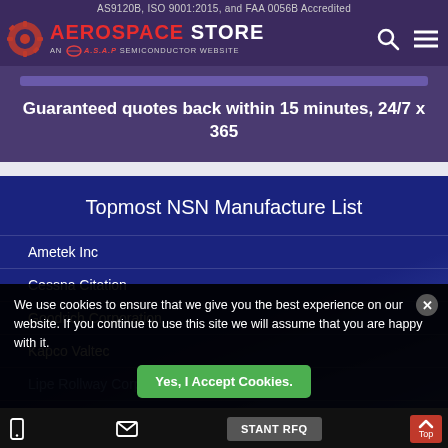AS9120B, ISO 9001:2015, and FAA 0056B Accredited
[Figure (logo): Aerospace Store logo - AN A.S.A.P Semiconductor Website]
Guaranteed quotes back within 15 minutes, 24/7 x 365
Topmost NSN Manufacture List
Ametek Inc
Cessna Citation
Goodrich Corporation
Kapco Valtec
Lipe Rollway Corp
We use cookies to ensure that we give you the best experience on our website. If you continue to use this site we will assume that you are happy with it.
Yes, I Accept Cookies.